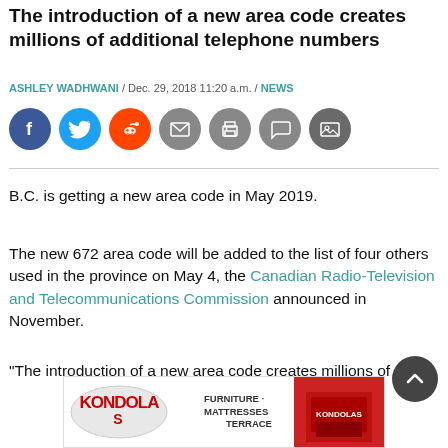The introduction of a new area code creates millions of additional telephone numbers
ASHLEY WADHWANI / Dec. 29, 2018 11:20 a.m. / NEWS
[Figure (other): Social media sharing icons: Facebook, Twitter, Reddit, Email, Print, Comment, Photo]
B.C. is getting a new area code in May 2019.
The new 672 area code will be added to the list of four others used in the province on May 4, the Canadian Radio-Television and Telecommunications Commission announced in November.
“The introduction of a new area code creates millions of
[Figure (other): Advertisement banner for Kondolas Furniture - Mattresses, Terrace]